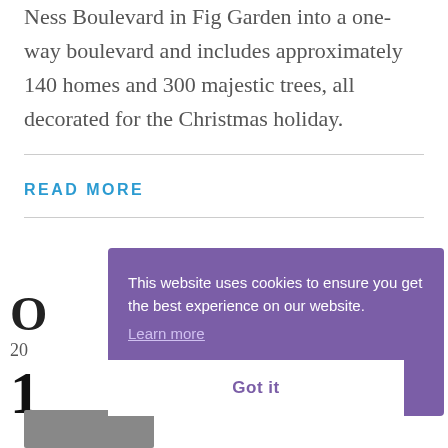Ness Boulevard in Fig Garden into a one-way boulevard and includes approximately 140 homes and 300 majestic trees, all decorated for the Christmas holiday.
READ MORE
O
20
1
This website uses cookies to ensure you get the best experience on our website. Learn more
Got it